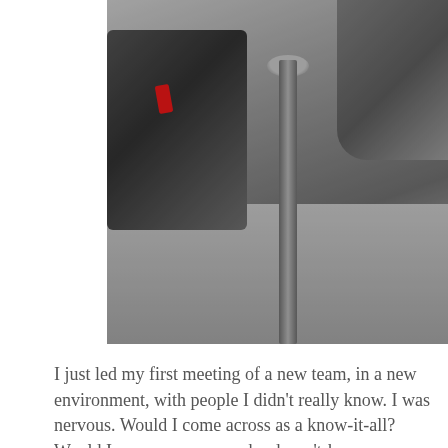[Figure (photo): Black and white photograph of a person walking on a brick pavement, carrying a dark backpack with a small red ribbon/tag. A metal bollard post is visible in the center. Shrubbery in the background.]
I just led my first meeting of a new team, in a new environment, with people I didn't really know. I was nervous. Would I come across as a know-it-all? Would I come across as a she-doesn't-know-anything? Would I be overly confident? Overly nervous? Say the wrong thing. Not say enough of anything of substance. Add to that, this particular team feels different than other things I've been involved in. As in, I have a feeling I'm onto something here…like this was the first of many